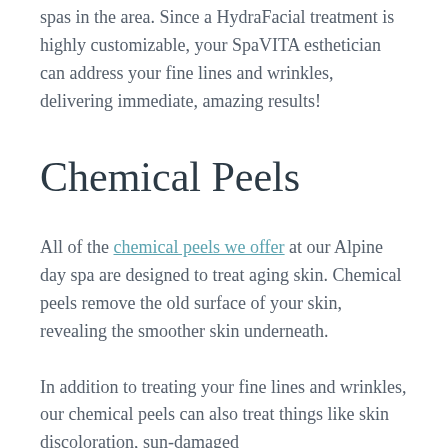spas in the area. Since a HydraFacial treatment is highly customizable, your SpaVITA esthetician can address your fine lines and wrinkles, delivering immediate, amazing results!
Chemical Peels
All of the chemical peels we offer at our Alpine day spa are designed to treat aging skin. Chemical peels remove the old surface of your skin, revealing the smoother skin underneath.
In addition to treating your fine lines and wrinkles, our chemical peels can also treat things like skin discoloration, sun-damaged